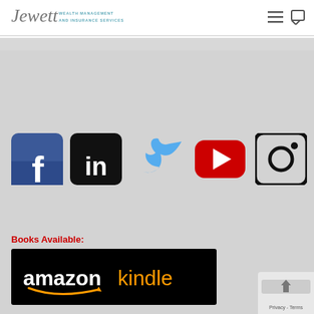[Figure (logo): Jewett Wealth Management and Insurance Services logo]
[Figure (infographic): Social media icons: Facebook, LinkedIn, Twitter, YouTube, Instagram]
Books Available:
[Figure (logo): Amazon Kindle logo banner on black background]
[Figure (screenshot): Privacy - Terms badge with arrow up and reCAPTCHA]